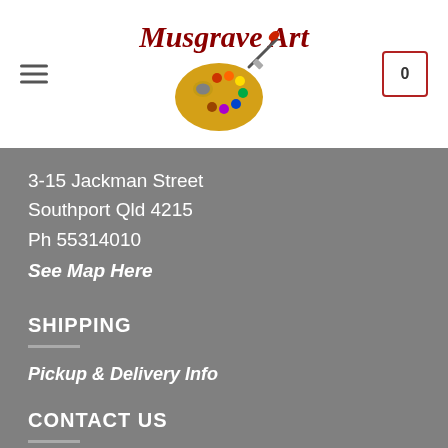Musgrave Art — navigation header with hamburger menu, logo, and cart (0)
3-15 Jackman Street
Southport Qld 4215
Ph 55314010
See Map Here
SHIPPING
Pickup & Delivery Info
CONTACT US
Phone and Email